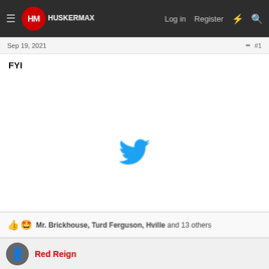HuskerMax — Log in  Register
Sep 19, 2021   #1
FYI
[Figure (logo): Twitter bird icon (blue) indicating an embedded tweet that failed to load]
👍 😍 Mr. Brickhouse, Turd Ferguson, Hville and 13 others
Red Reign